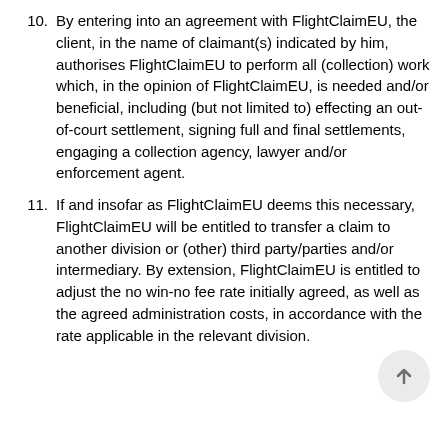10. By entering into an agreement with FlightClaimEU, the client, in the name of claimant(s) indicated by him, authorises FlightClaimEU to perform all (collection) work which, in the opinion of FlightClaimEU, is needed and/or beneficial, including (but not limited to) effecting an out-of-court settlement, signing full and final settlements, engaging a collection agency, lawyer and/or enforcement agent.
11. If and insofar as FlightClaimEU deems this necessary, FlightClaimEU will be entitled to transfer a claim to another division or (other) third party/parties and/or intermediary. By extension, FlightClaimEU is entitled to adjust the no win-no fee rate initially agreed, as well as the agreed administration costs, in accordance with the rate applicable in the relevant division.